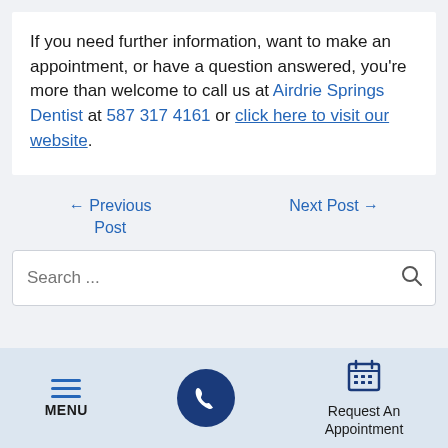If you need further information, want to make an appointment, or have a question answered, you're more than welcome to call us at Airdrie Springs Dentist at 587 317 4161 or click here to visit our website.
← Previous Post
Next Post →
Search ...
MENU | Phone | Request An Appointment